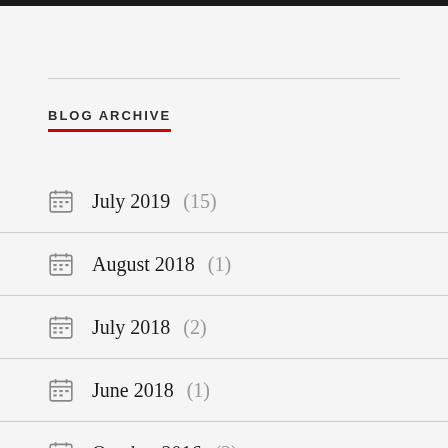BLOG ARCHIVE
July 2019 (15)
August 2018 (1)
July 2018 (2)
June 2018 (1)
October 2016 (3)
September 2015 (1)